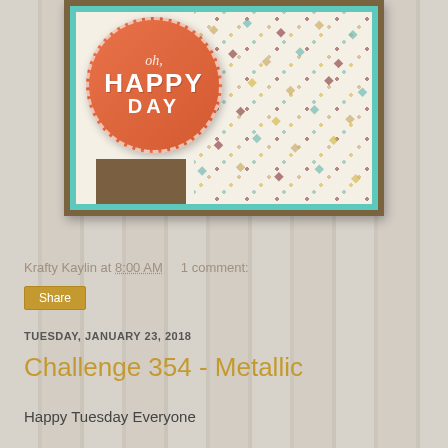[Figure (photo): Handmade greeting card showing an orange glittery circle badge with 'oh, HAPPY DAY' text in white, on a cream background with colorful diamond pattern dots, framed with teal/mint and brown borders]
Krafty Kaylin at 8:00 AM    1 comment:
Share
TUESDAY, JANUARY 23, 2018
Challenge 354 - Metallic
Happy Tuesday Everyone